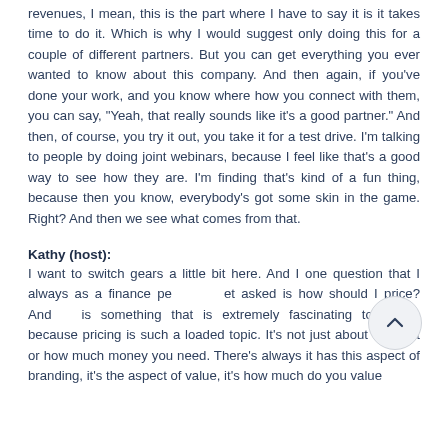revenues, I mean, this is the part where I have to say it is it takes time to do it. Which is why I would suggest only doing this for a couple of different partners. But you can get everything you ever wanted to know about this company. And then again, if you've done your work, and you know where how you connect with them, you can say, "Yeah, that really sounds like it's a good partner." And then, of course, you try it out, you take it for a test drive. I'm talking to people by doing joint webinars, because I feel like that's a good way to see how they are. I'm finding that's kind of a fun thing, because then you know, everybody's got some skin in the game. Right? And then we see what comes from that.
Kathy (host):
I want to switch gears a little bit here. And I one question that I always as a finance person get asked is how should I price? And this is something that is extremely fascinating to me is because pricing is such a loaded topic. It's not just about the cost or how much money you need. There's always it has this aspect of branding, it's the aspect of value, it's how much do you value